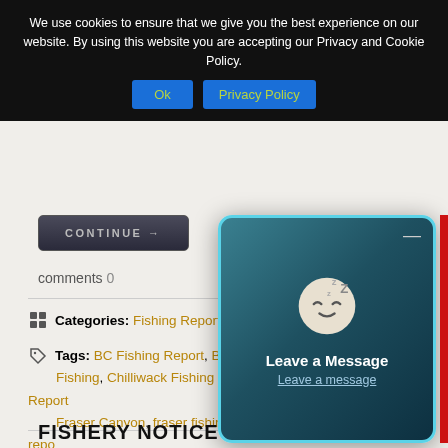We use cookies to ensure that we give you the best experience on our website. By using this website you are accepting our Privacy and Cookie Policy.
Ok | Privacy Policy
CONTINUE →
comments 0
Categories: Fishing Reports
Tags: BC Fishing Report, British Columbia Fishing, Chilliwack Fishing Report, Fraser Canyon, fraser fishing report, Harrison River, Mission Fishing Report, sturgeon fishing, V...
[Figure (screenshot): Leave a Message widget overlay with sleeping face emoji, teal/dark background, cyan border]
FISHERY NOTICE UPDATE